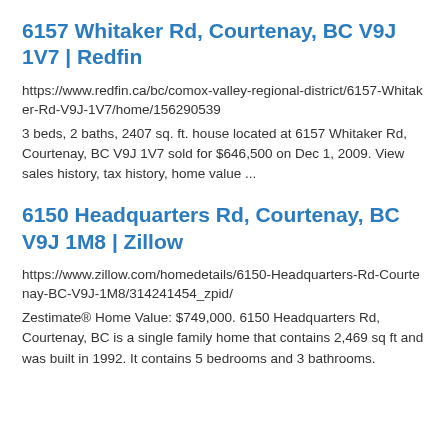6157 Whitaker Rd, Courtenay, BC V9J 1V7 | Redfin
https://www.redfin.ca/bc/comox-valley-regional-district/6157-Whitaker-Rd-V9J-1V7/home/156290539
3 beds, 2 baths, 2407 sq. ft. house located at 6157 Whitaker Rd, Courtenay, BC V9J 1V7 sold for $646,500 on Dec 1, 2009. View sales history, tax history, home value ...
6150 Headquarters Rd, Courtenay, BC V9J 1M8 | Zillow
https://www.zillow.com/homedetails/6150-Headquarters-Rd-Courtenay-BC-V9J-1M8/314241454_zpid/
Zestimate® Home Value: $749,000. 6150 Headquarters Rd, Courtenay, BC is a single family home that contains 2,469 sq ft and was built in 1992. It contains 5 bedrooms and 3 bathrooms.